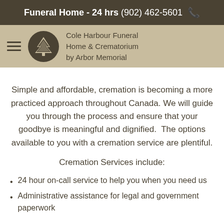Funeral Home - 24 hrs (902) 462-5601
[Figure (logo): Cole Harbour Funeral Home & Crematorium by Arbor Memorial logo with tree emblem in circular badge and company name text]
Simple and affordable, cremation is becoming a more practiced approach throughout Canada. We will guide you through the process and ensure that your goodbye is meaningful and dignified. The options available to you with a cremation service are plentiful.
Cremation Services include:
24 hour on-call service to help you when you need us
Administrative assistance for legal and government paperwork